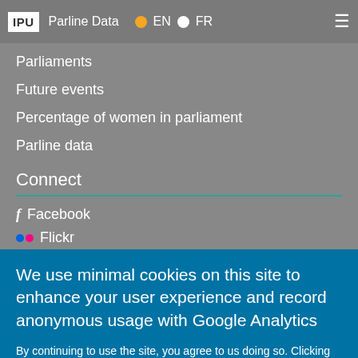IPU | Parline Data | EN | FR
Parliaments
Future events
Percentage of women in parliament
Parline data
Connect
Facebook
Flickr
We use minimal cookies on this site to enhance your user experience and record anonymous usage with Google Analytics
By continuing to use the site, you agree to us doing so. Clicking the Accept button will remove this message. More on our policies
Accept